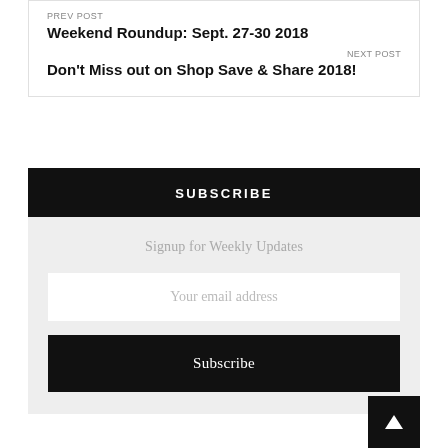PREV POST
Weekend Roundup: Sept. 27-30 2018
NEXT POST
Don't Miss out on Shop Save & Share 2018!
SUBSCRIBE
Signup for Weekly Updates
Your email address
Subscribe